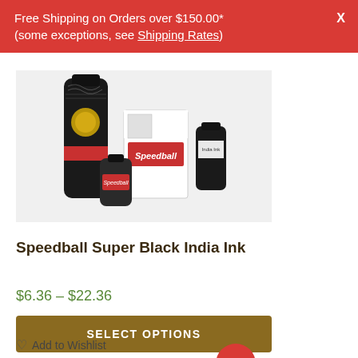Free Shipping on Orders over $150.00* (some exceptions, see Shipping Rates)
[Figure (photo): Photo of Speedball Super Black India Ink products: a large bottle, small jar, box packaging and smaller bottle arranged together on white background]
Speedball Super Black India Ink
$6.36 – $22.36
SELECT OPTIONS
Add to Wishlist